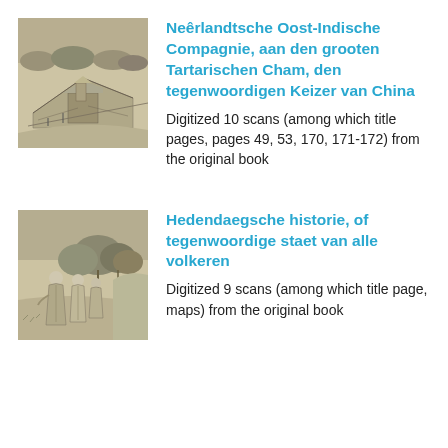[Figure (illustration): Historical engraving showing a bird's-eye view of a large compound or city with buildings and walls]
Neêrlandtsche Oost-Indische Compagnie, aan den grooten Tartarischen Cham, den tegenwoordigen Keizer van China
Digitized 10 scans (among which title pages, pages 49, 53, 170, 171-172) from the original book
[Figure (illustration): Historical engraving showing three figures in robes standing outdoors with trees in the background]
Hedendaegsche historie, of tegenwoordige staet van alle volkeren
Digitized 9 scans (among which title page, maps) from the original book